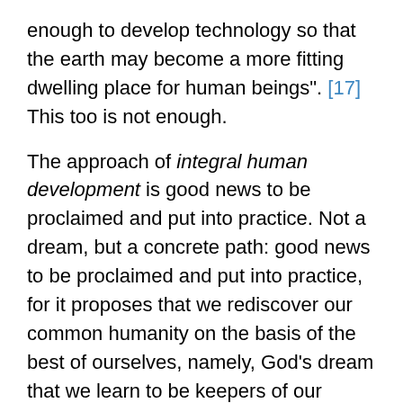enough to develop technology so that the earth may become a more fitting dwelling place for human beings". [17] This too is not enough.
The approach of integral human development is good news to be proclaimed and put into practice. Not a dream, but a concrete path: good news to be proclaimed and put into practice, for it proposes that we rediscover our common humanity on the basis of the best of ourselves, namely, God’s dream that we learn to be keepers of our brothers and sisters and those most vulnerable (cf. Gen 4:9). “The true measure of humanity is essentially determined in relationship to suffering and to the sufferer. This holds true for both individuals and for society”.[18] The measure of humanity: a measure that must be embodied in our decisions and our economic models.